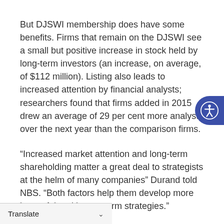But DJSWI membership does have some benefits. Firms that remain on the DJSWI see a small but positive increase in stock held by long-term investors (an increase, on average, of $112 million). Listing also leads to increased attention by financial analysts; researchers found that firms added in 2015 drew an average of 29 per cent more analysts over the next year than the comparison firms.
“Increased market attention and long-term shareholding matter a great deal to strategists at the helm of many companies” Durand told NBS. “Both factors help them develop more impactful and longer-term strategies.”